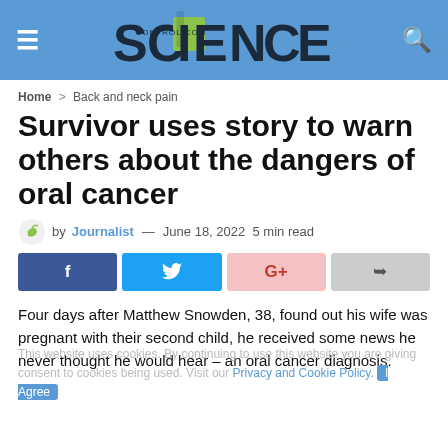SCIENCE CONTROL.COM
Home > Back and neck pain
Survivor uses story to warn others about the dangers of oral cancer
by Journalist — June 18, 2022  5 min read
[Figure (other): Social share buttons: Facebook, Twitter, Google+, Share]
Four days after Matthew Snowden, 38, found out his wife was pregnant with their second child, he received some news he never thought he would hear – an oral cancer diagnosis.
This website uses cookies. By continuing to use this website you are giving consent to cookies being used. Visit our Privacy and Cookie Policy.  I Agree